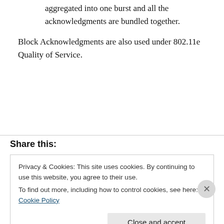aggregated into one burst and all the acknowledgments are bundled together.
Block Acknowledgments are also used under 802.11e Quality of Service.
Share this:
Privacy & Cookies: This site uses cookies. By continuing to use this website, you agree to their use.
To find out more, including how to control cookies, see here: Cookie Policy